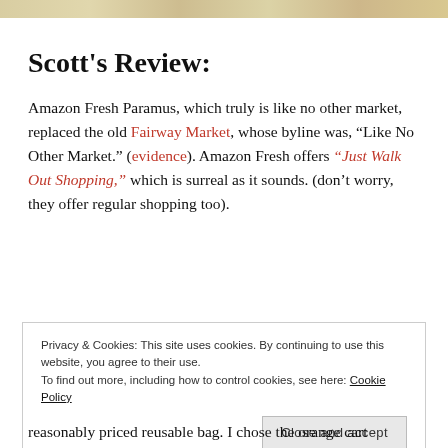[decorative header image]
Scott's Review:
Amazon Fresh Paramus, which truly is like no other market, replaced the old Fairway Market, whose byline was, “Like No Other Market.” (evidence). Amazon Fresh offers “Just Walk Out Shopping,” which is surreal as it sounds. (don’t worry, they offer regular shopping too).
Privacy & Cookies: This site uses cookies. By continuing to use this website, you agree to their use.
To find out more, including how to control cookies, see here: Cookie Policy
Close and accept
reasonably priced reusable bag. I chose the orange cart